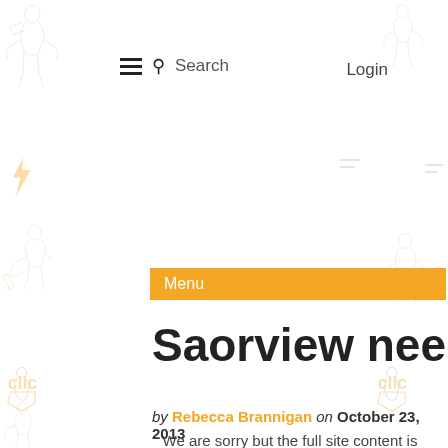Search   Login
Menu
Saorview needs retuning
by Rebecca Brannigan on October 23, 2013
We are sorry but the full site content is only